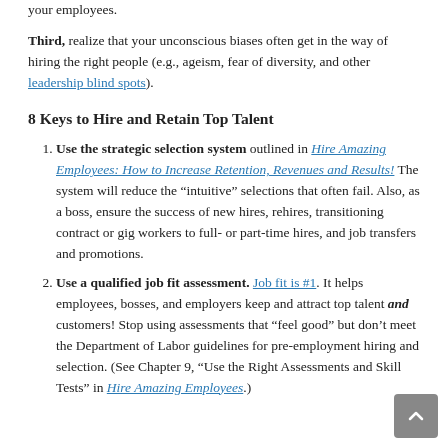your employees.
Third, realize that your unconscious biases often get in the way of hiring the right people (e.g., ageism, fear of diversity, and other leadership blind spots).
8 Keys to Hire and Retain Top Talent
Use the strategic selection system outlined in Hire Amazing Employees: How to Increase Retention, Revenues and Results! The system will reduce the “intuitive” selections that often fail. Also, as a boss, ensure the success of new hires, rehires, transitioning contract or gig workers to full- or part-time hires, and job transfers and promotions.
Use a qualified job fit assessment. Job fit is #1. It helps employees, bosses, and employers keep and attract top talent and customers! Stop using assessments that “feel good” but don’t meet the Department of Labor guidelines for pre-employment hiring and selection. (See Chapter 9, “Use the Right Assessments and Skill Tests” in Hire Amazing Employees.)